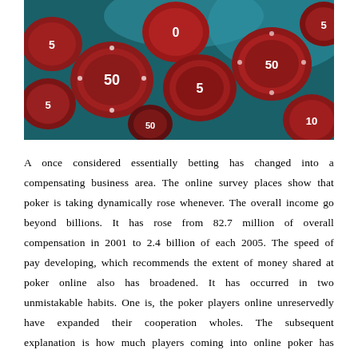[Figure (photo): Overhead view of red and dark poker chips with numbers 5, 10, 50 visible, scattered on a teal/blue background.]
A once considered essentially betting has changed into a compensating business area. The online survey places show that poker is taking dynamically rose whenever. The overall income go beyond billions. It has rose from 82.7 million of overall compensation in 2001 to 2.4 billion of each 2005. The speed of pay developing, which recommends the extent of money shared at poker online also has broadened. It has occurred in two unmistakable habits. One is, the poker players online unreservedly have expanded their cooperation wholes. The subsequent explanation is how much players coming into online poker has broadened. This is a certain pointer of the move of how much online poker rooms by the same token. Acknowledgments would